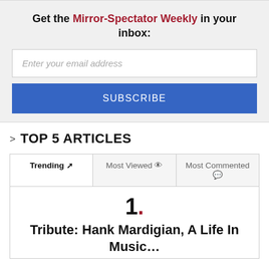Get the Mirror-Spectator Weekly in your inbox:
Enter your email address
SUBSCRIBE
TOP 5 ARTICLES
Trending | Most Viewed | Most Commented
1.
Tribute: Hank Mardigian, A Life In Music